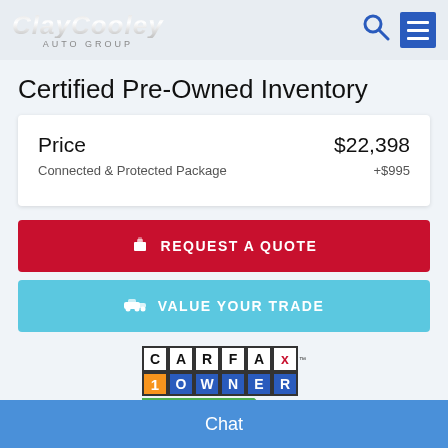[Figure (logo): Clay Cooley Auto Group logo with metallic silver text and AUTO GROUP subtitle]
Certified Pre-Owned Inventory
|  |  |
| --- | --- |
| Price | $22,398 |
| Connected & Protected Package | +$995 |
REQUEST A QUOTE
VALUE YOUR TRADE
[Figure (logo): CARFAX 1 OWNER GREAT VALUE badge]
Chat